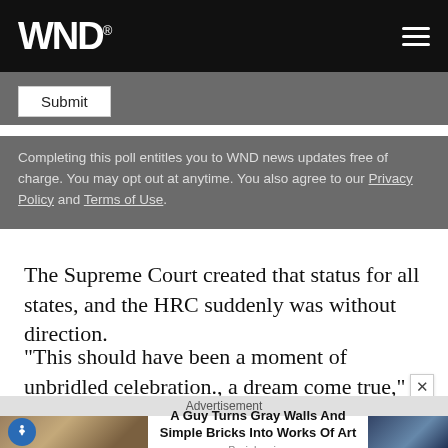WND
Submit
Completing this poll entitles you to WND news updates free of charge. You may opt out at anytime. You also agree to our Privacy Policy and Terms of Use.
The Supreme Court created that status for all states, and the HRC suddenly was without direction.
"This should have been a moment of unbridled celebration., a dream come true," he said. "But it wasn't It was a crisis."
Advertisement
[Figure (infographic): Advertisement banner: image of painted wall art of a leaping animal (fox/dog), text 'A Guy Turns Gray Walls And Simple Bricks Into Works Of Art', source 'Brainberries', with a photo of a woman on the right side]